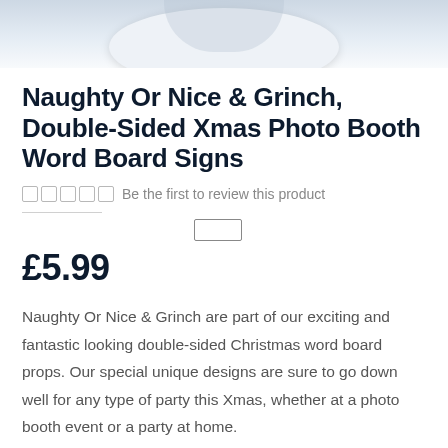[Figure (photo): Partial product photo showing the bottom of a decorative plate or bowl with Christmas-themed signs, white background, cropped at top of page.]
Naughty Or Nice & Grinch, Double-Sided Xmas Photo Booth Word Board Signs
Be the first to review this product
£5.99
Naughty Or Nice & Grinch are part of our exciting and fantastic looking double-sided Christmas word board props. Our special unique designs are sure to go down well for any type of party this Xmas, whether at a photo booth event or a party at home.
IN STOCK